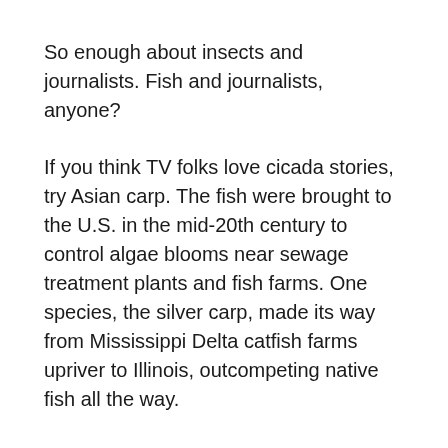So enough about insects and journalists. Fish and journalists, anyone?
If you think TV folks love cicada stories, try Asian carp. The fish were brought to the U.S. in the mid-20th century to control algae blooms near sewage treatment plants and fish farms. One species, the silver carp, made its way from Mississippi Delta catfish farms upriver to Illinois, outcompeting native fish all the way.
But these fish have a quirky defensive behavior that's also fabulous slapstick comedy. When threatened or alarmed, silver carp can breach up to 15 feet in the air. I've watched video of fishermen rejoicing as fish fulfill an old myth by literally jumping into the boat; a wildlife biologist hit full in the trousers by an airborne carp; or a TV...